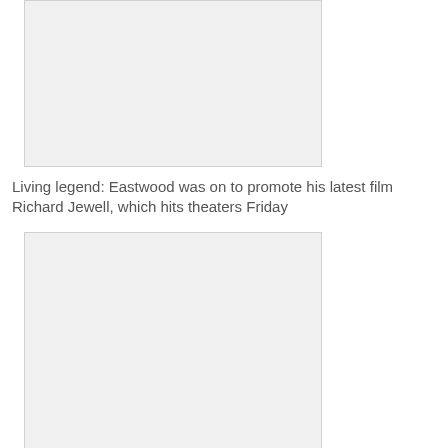[Figure (photo): Top photo placeholder — image of Eastwood, cropped at top of page]
Living legend: Eastwood was on to promote his latest film Richard Jewell, which hits theaters Friday
[Figure (photo): Second photo placeholder — image related to smoke/Warner Bros. lot incident]
Danger approaching: Eastwood said he noticed the smoke plumes emanated from the Warner Bros. lot and headed in the direction
The office neighbors where Ellen works out of, and she described Eastwood as 'a good neighbor' who never